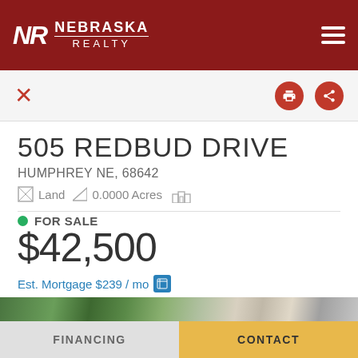[Figure (logo): Nebraska Realty logo with NR monogram and hamburger menu on dark red header background]
505 REDBUD DRIVE · HUMPHREY NE, 68642 · Land · 0.0000 Acres
505 REDBUD DRIVE
HUMPHREY NE, 68642
Land  0.0000 Acres
FOR SALE
$42,500
Est. Mortgage $239 / mo
[Figure (photo): Aerial satellite photo of property and surrounding area]
FINANCING
CONTACT